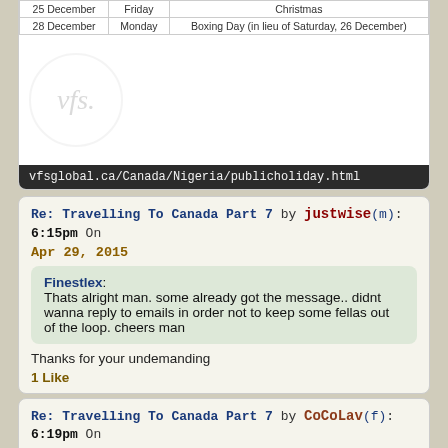| 25 December | Friday | Christmas |
| --- | --- | --- |
| 28 December | Monday | Boxing Day (in lieu of Saturday, 26 December) |
[Figure (logo): VFS logo — circular watermark with stylized 'vfs.' text]
vfsglobal.ca/Canada/Nigeria/publicholiday.html
Re: Travelling To Canada Part 7 by justwise(m): 6:15pm On Apr 29, 2015
Finestlex:
Thats alright man. some already got the message.. didnt wanna reply to emails in order not to keep some fellas out of the loop. cheers man
Thanks for your undemanding
1 Like
Re: Travelling To Canada Part 7 by CoCoLav(f): 6:19pm On Apr 29, 2015